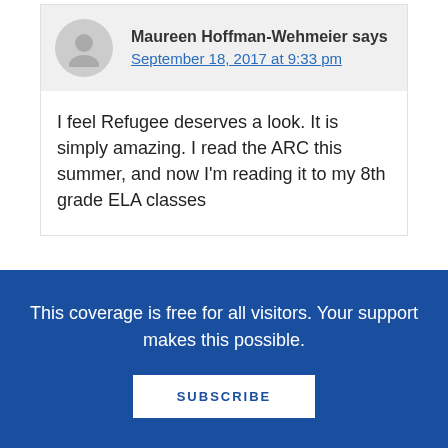Maureen Hoffman-Wehmeier says
September 18, 2017 at 9:33 pm
I feel Refugee deserves a look. It is simply amazing. I read the ARC this summer, and now I'm reading it to my 8th grade ELA classes
Sally says
September 19, 2017 at 6:05 am
This coverage is free for all visitors. Your support makes this possible.
SUBSCRIBE